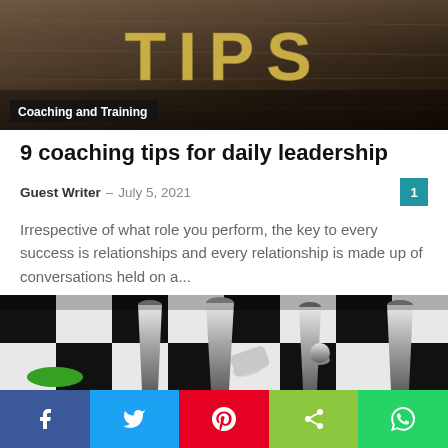[Figure (photo): Top banner image with 'TIPS' text in gold letters on a dark wooden background, with a 'Coaching and Training' category badge overlay]
9 coaching tips for daily leadership
Guest Writer – July 5, 2021
Irrespective of what role you perform, the key to every success is relationships and every relationship is made up of conversations held on a...
[Figure (photo): Chess pieces on a black and white chessboard, with a fallen silver king piece and a distinctive green chess piece among silver metallic pieces]
Social share bar: Facebook, Twitter, Pinterest, Share, WhatsApp